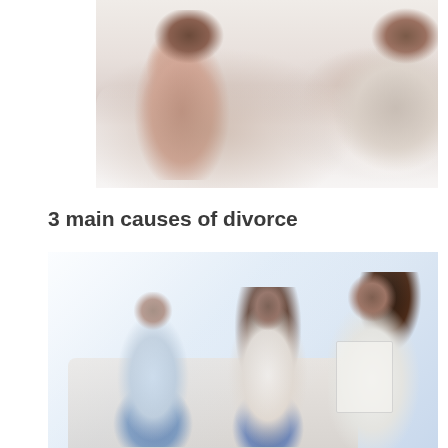[Figure (photo): A couple sitting on a bed with their backs to each other, appearing to be in conflict or estrangement. White bedding visible.]
3 main causes of divorce
[Figure (photo): A couple sitting on a couch holding hands, speaking with a counselor or therapist who is taking notes. Appears to be a couples counseling session.]